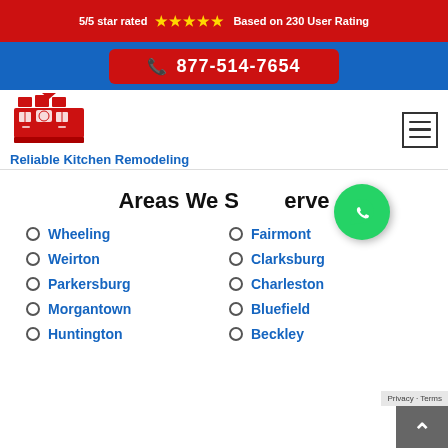5/5 star rated ★★★★★ Based on 230 User Rating
877-514-7654
[Figure (logo): Reliable Kitchen Remodeling logo — red kitchen/house icon with text below]
Areas We Serve
Wheeling
Weirton
Parkersburg
Morgantown
Huntington
Fairmont
Clarksburg
Charleston
Bluefield
Beckley